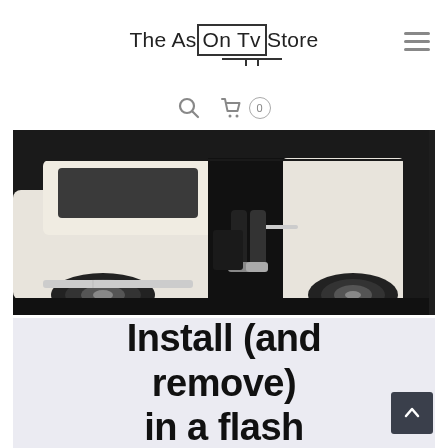The As On Tv Store
[Figure (screenshot): Website header with logo 'The As On Tv Store' with a TV icon box around 'On Tv', a hamburger menu icon on the right, and below it a search icon and shopping cart icon with badge showing 0]
[Figure (photo): Photo of a white SUV/minivan with its sliding door open, showing a person's legs and feet stepping out of the vehicle. The image is cropped showing the side of the vehicle with a dark background.]
Install (and remove) in a flash